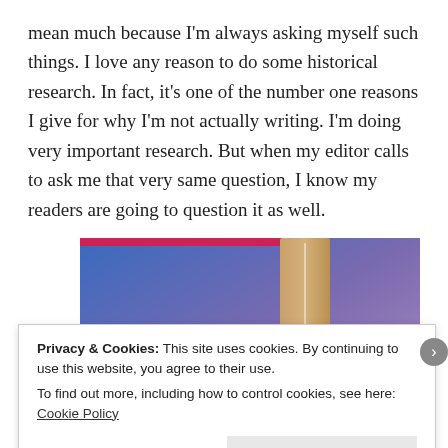mean much because I'm always asking myself such things. I love any reason to do some historical research. In fact, it's one of the number one reasons I give for why I'm not actually writing. I'm doing very important research. But when my editor calls to ask me that very same question, I know my readers are going to question it as well.
[Figure (illustration): Partial view of a book cover with blue and purple gradient background and a tan/brown bookmark ribbon]
Privacy & Cookies: This site uses cookies. By continuing to use this website, you agree to their use. To find out more, including how to control cookies, see here: Cookie Policy
Close and accept